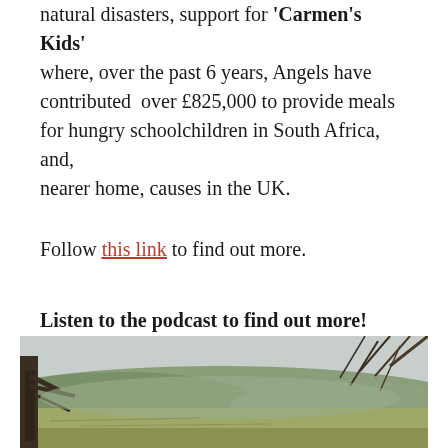natural disasters, support for 'Carmen's Kids' where, over the past 6 years, Angels have contributed over £825,000 to provide meals for hungry schoolchildren in South Africa, and, nearer home, causes in the UK.
Follow this link to find out more.
Listen to the podcast to find out more!
If you'd like to see larger pictures, please open the gallery by clicking on a thumbnail:
[Figure (photo): Landscape photograph showing a hilly countryside scene with trees framing the view, rolling hills and fields in the distance under an overcast sky.]